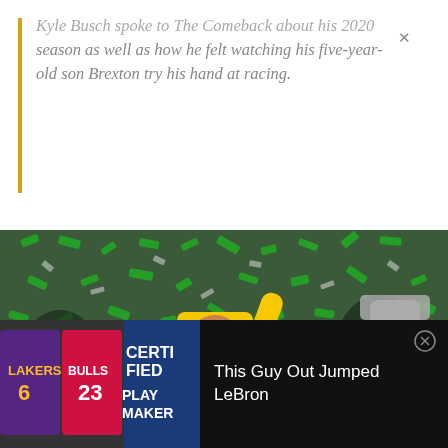Kyle Busch spoke to The Comeback about his 2020 season as well as how he felt watching his five-year-old son Brexton try his hand at racing.
[Figure (photo): Kyle Busch in yellow M&Ms racing suit and cap celebrating a NASCAR victory with green confetti raining down, crowd in background, Monster Energy trophy visible on the right.]
[Figure (photo): Advertisement showing basketball jerseys (Lakers #6, Bulls) with text 'CERTIFIED PLAYMAKER' overlaid in white on blue background.]
This Guy Out Jumped LeBron